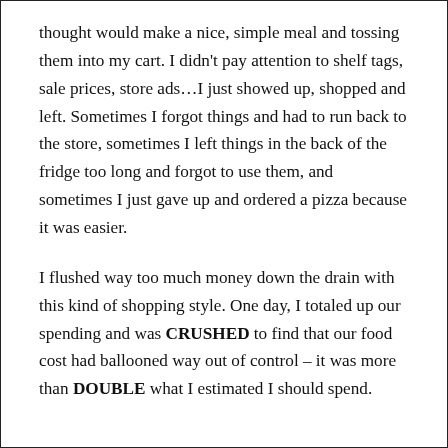thought would make a nice, simple meal and tossing them into my cart. I didn't pay attention to shelf tags, sale prices, store ads...I just showed up, shopped and left. Sometimes I forgot things and had to run back to the store, sometimes I left things in the back of the fridge too long and forgot to use them, and sometimes I just gave up and ordered a pizza because it was easier.
I flushed way too much money down the drain with this kind of shopping style. One day, I totaled up our spending and was CRUSHED to find that our food cost had ballooned way out of control – it was more than DOUBLE what I estimated I should spend.